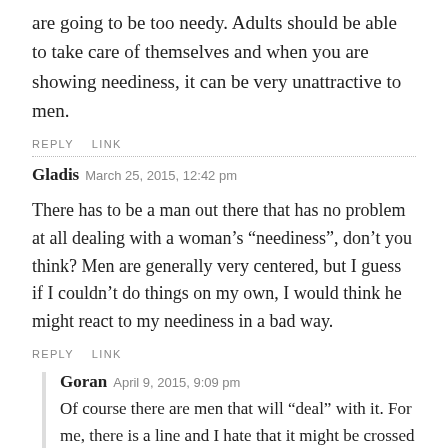are going to be too needy. Adults should be able to take care of themselves and when you are showing neediness, it can be very unattractive to men.
REPLY   LINK
Gladis  March 25, 2015, 12:42 pm
There has to be a man out there that has no problem at all dealing with a woman’s “neediness”, don’t you think? Men are generally very centered, but I guess if I couldn’t do things on my own, I would think he might react to my neediness in a bad way.
REPLY   LINK
Goran  April 9, 2015, 9:09 pm
Of course there are men that will “deal” with it. For me, there is a line and I hate that it might be crossed due to neediness of my girlfriend. It wouldn’t be the straw that breaks the camels back, but it will weigh a ton.
REPLY   LINK